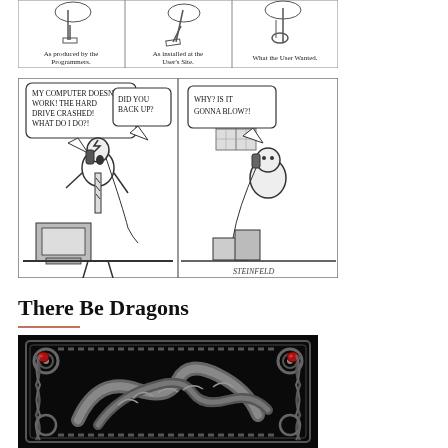[Figure (illustration): Three-panel comic strip showing: 'As produced by the programmers', 'As installed at the user's site', 'What the user wanted' — tree/swing metaphor software cartoon]
[Figure (illustration): Two-panel Steinfeld cartoon: left panel shows man frantically on phone at computer saying 'MY COMPUTER DOESN'T WORK! THE HARD DRIVE CRASHED! WHAT DO I DO?!' with response 'DID YOU BACK UP?'; right panel shows man on phone in empty room saying 'WHY? IS IT GONNA BLOW?!']
There Be Dragons
[Figure (illustration): Dark decorative dragon relief artwork — metallic celtic-style dragon carving with red gem eyes on black background]